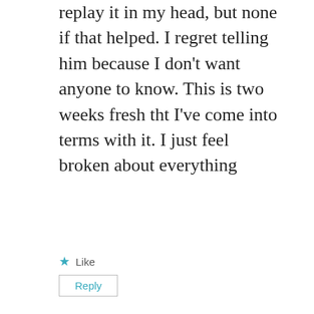replay it in my head, but none if that helped. I regret telling him because I don't want anyone to know. This is two weeks fresh tht I've come into terms with it. I just feel broken about everything
Like
Reply
Lynn
January 9, 2014 at 12:51 am
H. The only person you need to be giving details to is a counselor. It's ok that you told